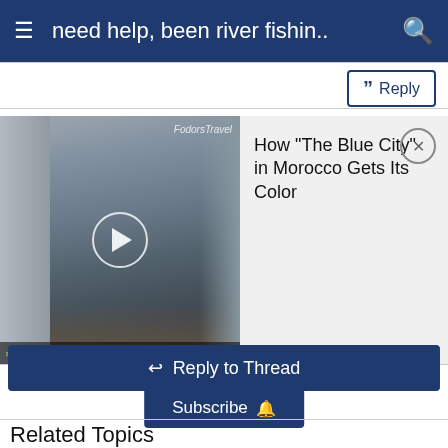need help, been river fishin..
[Figure (screenshot): Video thumbnail showing a narrow alley/street scene in blue and grey tones with a walking figure, FodorsTravel logo, play button overlay, and caption bar reading 'and depending on the mix the color is more blue or more white'. Paired with text panel: How "The Blue City" in Morocco Gets Its Color, with a close (x) button.]
Subscribe 🔔
↩ Reply to Thread
Related Topics